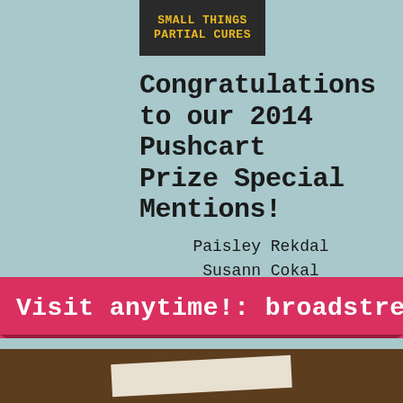[Figure (illustration): Top portion of a book cover with dark background showing text 'SMALL THINGS PARTIAL CURES' in yellow bold monospace font]
Congratulations to our 2014 Pushcart Prize Special Mentions!
Paisley Rekdal
Susann Cokal
Visit anytime!: broadstreetonline
[Figure (photo): Bottom strip showing a wooden surface with a partial white paper/envelope]